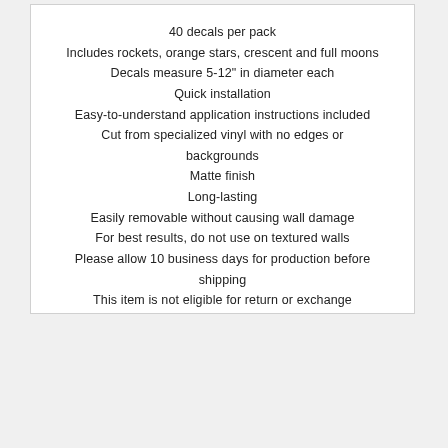40 decals per pack
Includes rockets, orange stars, crescent and full moons
Decals measure 5-12" in diameter each
Quick installation
Easy-to-understand application instructions included
Cut from specialized vinyl with no edges or backgrounds
Matte finish
Long-lasting
Easily removable without causing wall damage
For best results, do not use on textured walls
Please allow 10 business days for production before shipping
This item is not eligible for return or exchange
[Figure (other): Chat support bubble button (gray circle with ellipsis)]
5.0 ★★★★★